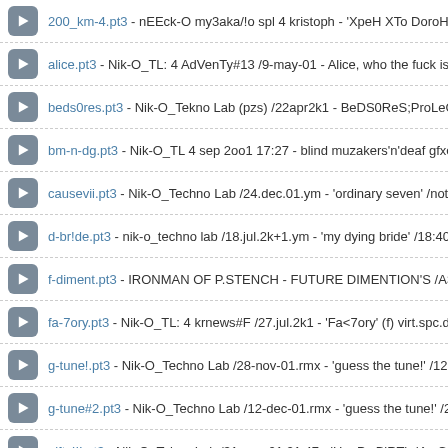200_km-4.pt3 - nEEck-O my3aka/!o spl 4 kristoph - 'XpeH XTo DoroHuT'
alice.pt3 - Nik-O_TL: 4 AdVenTy#13 /9-may-01 - Alice, who the fuck is Al
beds0res.pt3 - Nik-O_Tekno Lab (pzs) /22apr2k1 - BeDS0ReS;ProLeGnY;
bm-n-dg.pt3 - Nik-O_TL 4 sep 2oo1 17:27 - blind muzakers'n'deaf gfxers
causevii.pt3 - Nik-O_Techno Lab /24.dec.01.ym - 'ordinary seven' /not rmx
d-br!de.pt3 - nik-o_techno lab /18.jul.2k+1.ym - 'my dying bride' /18:40:45
f-diment.pt3 - IRONMAN OF P.STENCH - FUTURE DIMENTION'S /AS
fa-7ory.pt3 - Nik-O_TL: 4 krnews#F /27.jul.2k1 - 'Fa<7ory' (f) virt.spc.drm
g-tune!.pt3 - Nik-O_Techno Lab /28-nov-01.rmx - 'guess the tune!' /12:01:5
g-tune#2.pt3 - Nik-O_Techno Lab /12-dec-01.rmx - 'guess the tune!' /23:37
gifty!!!.pt3 - Nik-O_Tekno Lab /31-aug-01 21:47 - 'HapPy BiRThdAy Gas
gt-intro.pt3 - Nik-O_Techno Lab /16-dec-01.rmx - 'guess the tune!' /intro v
jelly.pt3 - Nik-O_TL: Dolphin (c) /30-aug-01 - 'MeDv3a' (jelly-fish) /vm rm